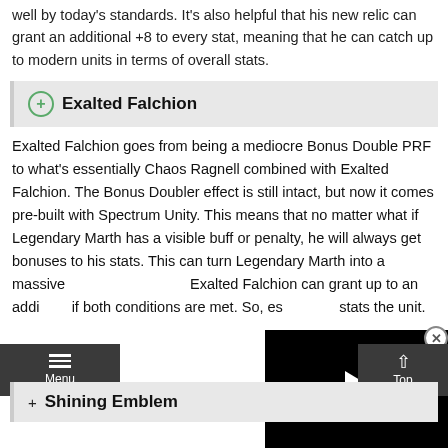well by today's standards. It's also helpful that his new relic can grant an additional +8 to every stat, meaning that he can catch up to modern units in terms of overall stats.
Exalted Falchion
Exalted Falchion goes from being a mediocre Bonus Double PRF to what's essentially Chaos Ragnell combined with Exalted Falchion. The Bonus Doubler effect is still intact, but now it comes pre-built with Spectrum Unity. This means that no matter what if Legendary Marth has a visible buff or penalty, he will always get bonuses to his stats. This can turn Legendary Marth into a massive... Exalted Falchion can grant up to an addi... if both conditions are met. So, es... stats the unit.
[Figure (screenshot): Video player overlay showing a black screen with a white play button triangle in the center]
Shining Emblem